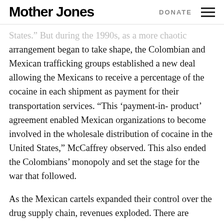Mother Jones | DONATE
States.” But during the 1990s, as a more chaotic arrangement began to take shape, the Colombian and Mexican trafficking groups established a new deal allowing the Mexicans to receive a percentage of the cocaine in each shipment as payment for their transportation services. “This ‘payment-in-product’ agreement enabled Mexican organizations to become involved in the wholesale distribution of cocaine in the United States,” McCaffrey observed. This also ended the Colombians’ monopoly and set the stage for the war that followed.
As the Mexican cartels expanded their control over the drug supply chain, revenues exploded. There are